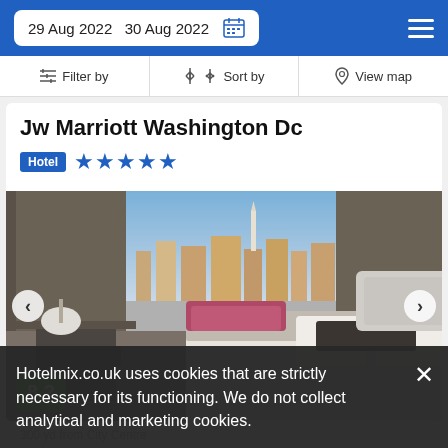29 Aug 2022   30 Aug 2022
Filter by   Sort by   View map
Jw Marriott Washington Dc
Hotel ★★★★★
[Figure (photo): Hotel room interior with large bed, white linens, dark decorative pillow, desk area with chair, window view of city with Washington Monument visible, gray curtains, modern decor]
8.2
Hotelmix.co.uk uses cookies that are strictly necessary for its functioning. We do not collect analytical and marketing cookies.
300 yd from City Centre